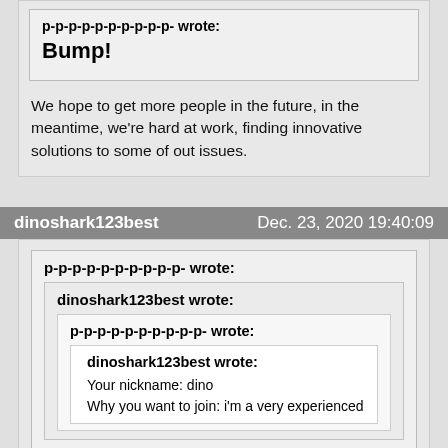p-p-p-p-p-p-p-p-p-p- wrote:
Bump!
We hope to get more people in the future, in the meantime, we're hard at work, finding innovative solutions to some of out issues.
dinoshark123best   Dec. 23, 2020 19:40:09
p-p-p-p-p-p-p-p-p-p- wrote:
dinoshark123best wrote:
p-p-p-p-p-p-p-p-p-p- wrote:
dinoshark123best wrote:
Your nickname: dino
Why you want to join: i'm a very experienced